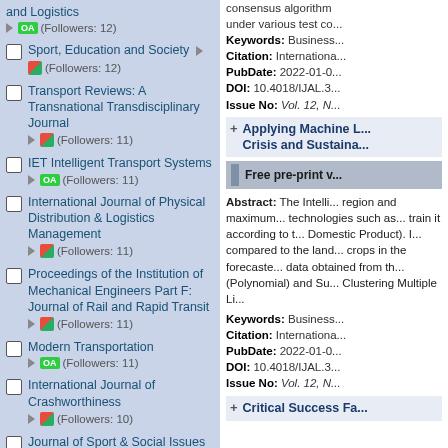and Logistics ▶ OA (Followers: 12)
Sport, Education and Society ▶ 🟥🟩 (Followers: 12)
Transport Reviews: A Transnational Transdisciplinary Journal ▶ 🟥🟩 (Followers: 11)
IET Intelligent Transport Systems ▶ OA (Followers: 11)
International Journal of Physical Distribution & Logistics Management ▶ 🟥🟩 (Followers: 11)
Proceedings of the Institution of Mechanical Engineers Part F: Journal of Rail and Rapid Transit ▶ 🟥🟩 (Followers: 11)
Modern Transportation ▶ OA (Followers: 11)
International Journal of Crashworthiness ▶ 🟥🟩 (Followers: 10)
Journal of Sport & Social Issues
consensus algorithm under various test co...
Keywords: Business... Citation: International... PubDate: 2022-01-0... DOI: 10.4018/IJAL.3... Issue No: Vol. 12, N...
Applying Machine L... Crisis and Sustaina...
Free pre-print v...
Abstract: The Intelli... region and maximum... technologies such as... train it according to t... Domestic Product). I... compared to the land... crops in the forecaste... data obtained from th... (Polynomial) and Su... Clustering Multiple Li...
Keywords: Business... Citation: International... PubDate: 2022-01-0... DOI: 10.4018/IJAL.3... Issue No: Vol. 12, N...
Critical Success Fa...